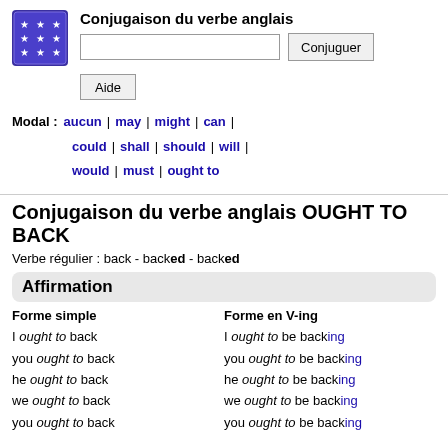[Figure (logo): Blue/purple square logo with white stars arranged in a 3x3 grid pattern]
Conjugaison du verbe anglais
Modal : aucun | may | might | can | could | shall | should | will | would | must | ought to
Conjugaison du verbe anglais OUGHT TO BACK
Verbe régulier : back - backed - backed
Affirmation
Forme simple
Forme en V-ing
I ought to back
you ought to back
he ought to back
we ought to back
you ought to back
I ought to be backing
you ought to be backing
he ought to be backing
we ought to be backing
you ought to be backing